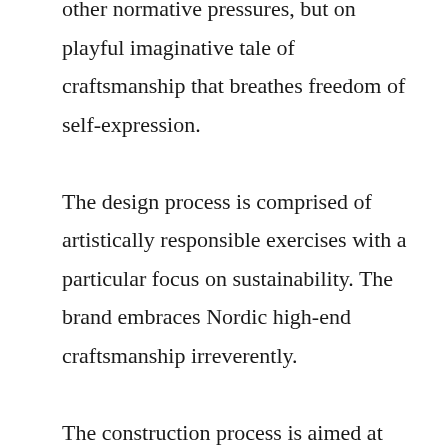other normative pressures, but on playful imaginative tale of craftsmanship that breathes freedom of self-expression. The design process is comprised of artistically responsible exercises with a particular focus on sustainability. The brand embraces Nordic high-end craftsmanship irreverently. The construction process is aimed at crafting garments eloquently suitable for both men and women and wearers are encouraged to interact and close forms by selective personalization of the silhouettes through #multiways garments. Structural forms are